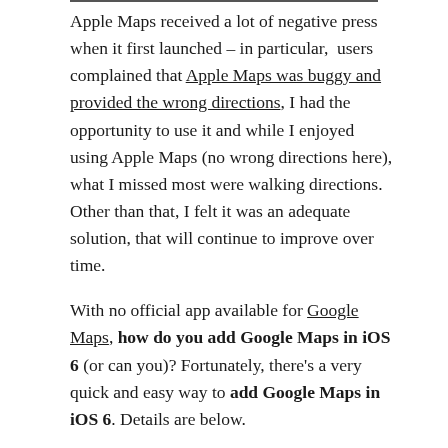Apple Maps received a lot of negative press when it first launched – in particular, users complained that Apple Maps was buggy and provided the wrong directions, I had the opportunity to use it and while I enjoyed using Apple Maps (no wrong directions here), what I missed most were walking directions. Other than that, I felt it was an adequate solution, that will continue to improve over time.
With no official app available for Google Maps, how do you add Google Maps in iOS 6 (or can you)? Fortunately, there's a very quick and easy way to add Google Maps in iOS 6. Details are below.
How to add Google Maps in iOS 6
Continue reading →